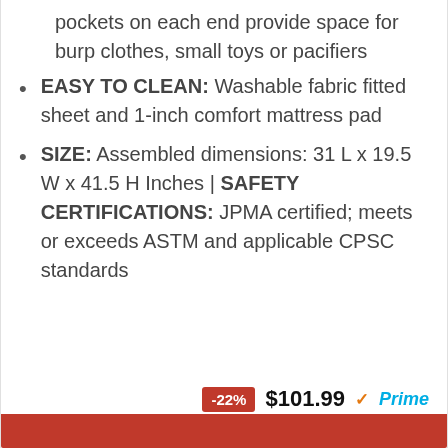pockets on each end provide space for burp clothes, small toys or pacifiers
EASY TO CLEAN: Washable fabric fitted sheet and 1-inch comfort mattress pad
SIZE: Assembled dimensions: 31 L x 19.5 W x 41.5 H Inches | SAFETY CERTIFICATIONS: JPMA certified; meets or exceeds ASTM and applicable CPSC standards
-22%  $101.99  Prime